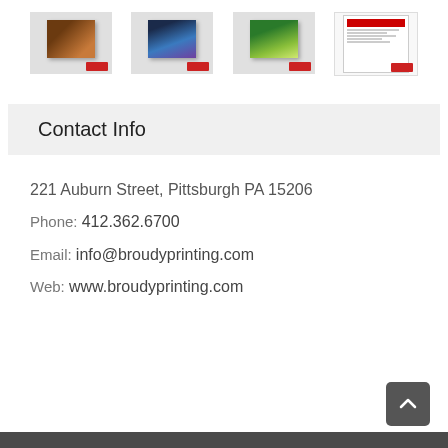[Figure (photo): Row of four product thumbnail images showing printed materials from Broudy Printing]
Contact Info
221 Auburn Street, Pittsburgh PA 15206
Phone: 412.362.6700
Email: info@broudyprinting.com
Web: www.broudyprinting.com